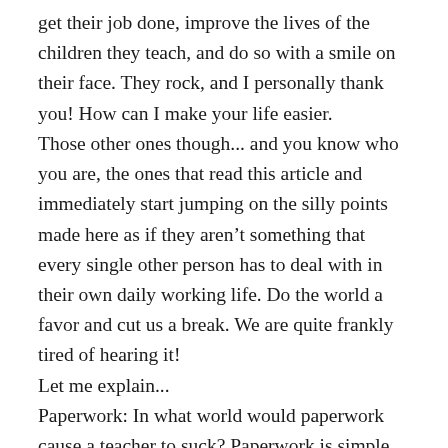get their job done, improve the lives of the children they teach, and do so with a smile on their face. They rock, and I personally thank you! How can I make your life easier. Those other ones though... and you know who you are, the ones that read this article and immediately start jumping on the silly points made here as if they aren't something that every single other person has to deal with in their own daily working life. Do the world a favor and cut us a break. We are quite frankly tired of hearing it! Let me explain... Paperwork: In what world would paperwork cause a teacher to suck? Paperwork is simple, mundane, but necessary. Every job has paperwork to differing degrees, and it all